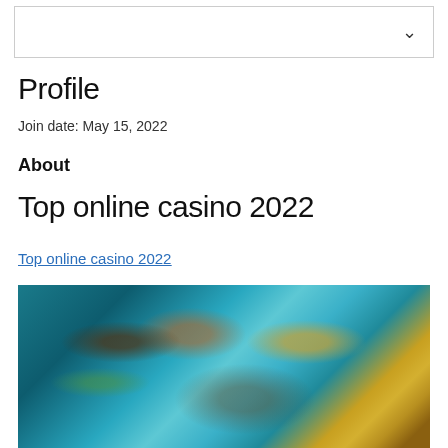[Figure (screenshot): Navigation bar with dropdown chevron arrow]
Profile
Join date: May 15, 2022
About
Top online casino 2022
Top online casino 2022
[Figure (photo): Blurred casino-themed image with colorful game characters and teal/gold background]